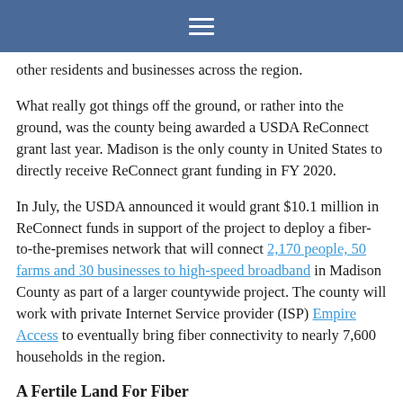≡
other residents and businesses across the region.
What really got things off the ground, or rather into the ground, was the county being awarded a USDA ReConnect grant last year. Madison is the only county in United States to directly receive ReConnect grant funding in FY 2020.
In July, the USDA announced it would grant $10.1 million in ReConnect funds in support of the project to deploy a fiber-to-the-premises network that will connect 2,170 people, 50 farms and 30 businesses to high-speed broadband in Madison County as part of a larger countywide project. The county will work with private Internet Service provider (ISP) Empire Access to eventually bring fiber connectivity to nearly 7,600 households in the region.
A Fertile Land For Fiber